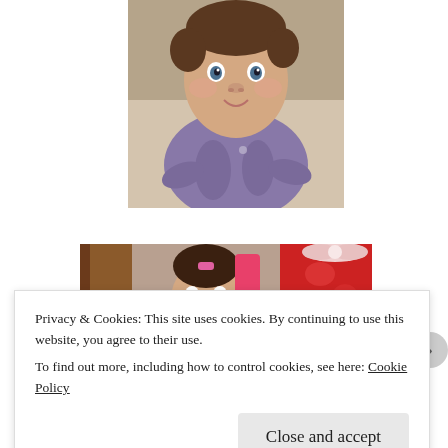[Figure (photo): A baby in a purple/lavender onesie sitting and looking at the camera with a slight smile, indoor setting]
[Figure (photo): A baby near wooden furniture holding a pink object, with a red and white gift bag visible on the right]
Privacy & Cookies: This site uses cookies. By continuing to use this website, you agree to their use.
To find out more, including how to control cookies, see here: Cookie Policy
Close and accept